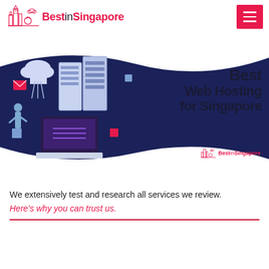BestinSingapore
[Figure (illustration): Hero banner with dark navy background and white wave shapes. Shows an isometric illustration of server racks, cloud computing, and a laptop. Right side has bold text: Best Web Hosting for Singapore with BestinSingapore logo watermark.]
We extensively test and research all services we review.
Here's why you can trust us.